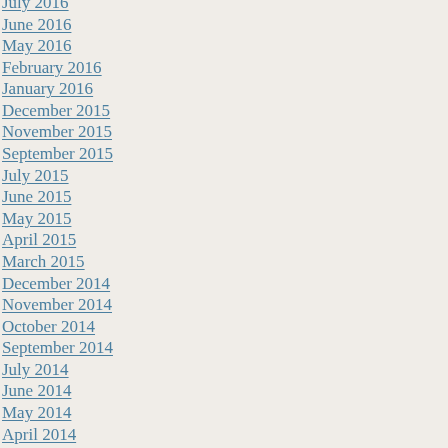July 2016
June 2016
May 2016
February 2016
January 2016
December 2015
November 2015
September 2015
July 2015
June 2015
May 2015
April 2015
March 2015
December 2014
November 2014
October 2014
September 2014
July 2014
June 2014
May 2014
April 2014
March 2014
January 2014
December 2013
November 2013
October 2013
July 2013
June 2013